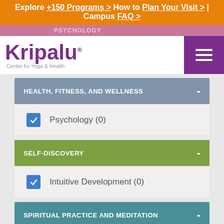Explore +150 Programs > How to Plan Your Visit > | Campus FAQ >
HEALTH, FITNESS, AND WELLNESS
Psychology (0)
SELF-DISCOVERY
Intuitive Development (0)
SPIRITUAL PRACTICE AND MEDITATION